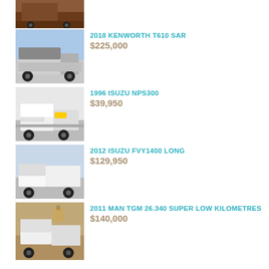[Figure (photo): Partial view of a truck at top of page (cropped)]
2018 KENWORTH T610 SAR $225,000
1996 ISUZU NPS300 $39,950
2012 ISUZU FVY1400 LONG $129,950
2011 MAN TGM 26.340 SUPER LOW KILOMETRES $140,000
RELATED ARTICLES
[Figure (photo): Related articles banner with dark blue background and a small thumbnail image]